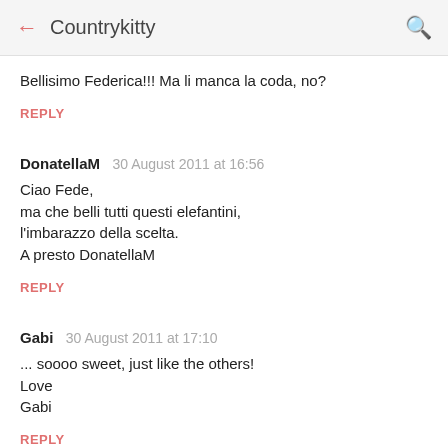← Countrykitty 🔍
Bellisimo Federica!!! Ma li manca la coda, no?
REPLY
DonatellaM  30 August 2011 at 16:56
Ciao Fede,
ma che belli tutti questi elefantini,
l'imbarazzo della scelta.
A presto DonatellaM
REPLY
Gabi  30 August 2011 at 17:10
... soooo sweet, just like the others!
Love
Gabi
REPLY
Francy (So Beautiful Things)